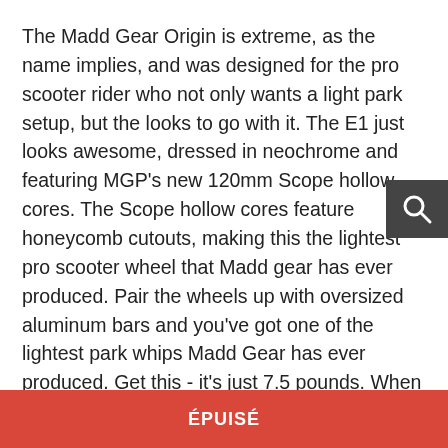The Madd Gear Origin is extreme, as the name implies, and was designed for the pro scooter rider who not only wants a light park setup, but the looks to go with it. The E1 just looks awesome, dressed in neochrome and featuring MGP's new 120mm Scope hollow cores. The Scope hollow cores feature honeycomb cutouts, making this the lightest pro scooter wheel that Madd gear has ever produced. Pair the wheels up with oversized aluminum bars and you've got one of the lightest park whips Madd Gear has ever produced. Get this - it's just 7.5 pounds. When you are looking for an Extreme pro scooter that looks and acts the part, look no further than the new MGP Origin. The Origin Extreme is SCOOTERS hands down pick of all of the awesome new pro scooters in Madd Gear's 2022 lineup!
ÉPUISÉ